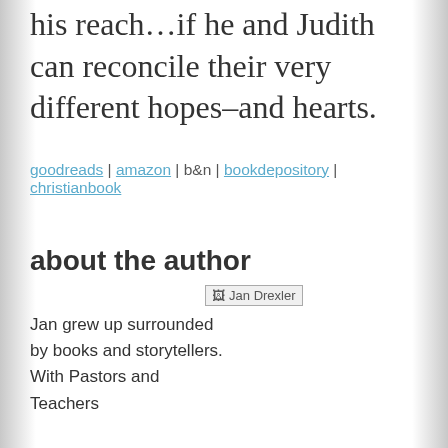his reach…if he and Judith can reconcile their very different hopes–and hearts.
goodreads | amazon | b&n | bookdepository | christianbook
about the author
[Figure (photo): Photo placeholder for Jan Drexler]
Jan grew up surrounded by books and storytellers. With Pastors and Teachers